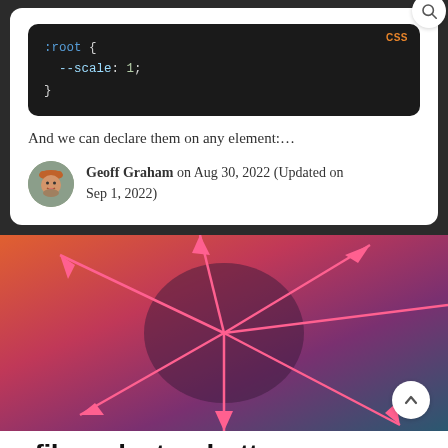[Figure (screenshot): Dark code block showing CSS :root { --scale: 1; } with CSS label in orange top-right]
And we can declare them on any element:…
Geoff Graham on Aug 30, 2022 (Updated on Sep 1, 2022)
[Figure (illustration): Colorful abstract starburst illustration with orange, red, pink, and teal gradient colors with pink arrow lines radiating outward]
ufile_selector_button